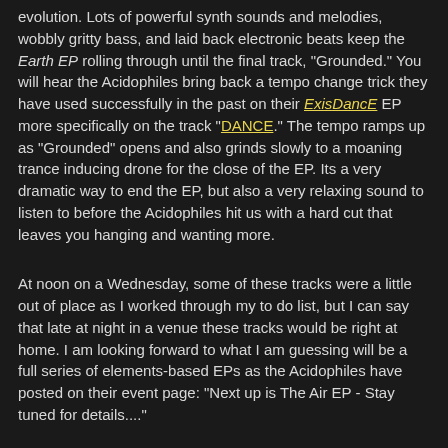evolution. Lots of powerful synth sounds and melodies, wobbly gritty bass, and laid back electronic beats keep the Earth EP rolling through until the final track, "Grounded." You will hear the Acidophiles bring back a tempo change trick they have used successfully in the past on their ExisDancE EP more specifically on the track "DANCE." The tempo ramps up as "Grounded" opens and also grinds slowly to a moaning trance inducing drone for the close of the EP. Its a very dramatic way to end the EP, but also a very relaxing sound to listen to before the Acidophiles hit us with a hard cut that leaves you hanging and wanting more.
At noon on a Wednesday, some of these tracks were a little out of place as I worked through my to do list, but I can say that late at night in a venue these tracks would be right at home. I am looking forward to what I am guessing will be a full series of elements-based EPs as the Acidophiles have posted on their event page: "Next up is The Air EP - Stay tuned for details...."